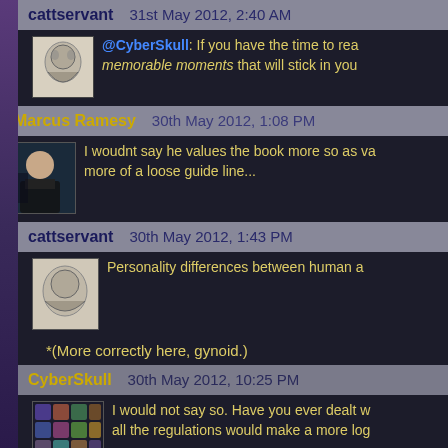cattservant   31st May 2012, 2:40 AM
@CyberSkull: If you have the time to rea memorable moments that will stick in you
Marcus Ramesy   30th May 2012, 1:08 PM
I woudnt say he values the book more so as va more of a loose guide line...
cattservant   30th May 2012, 1:43 PM
Personality differences between human a
*(More correctly here, gynoid.)
CyberSkull   30th May 2012, 10:25 PM
I would not say so. Have you ever dealt w all the regulations would make a more log